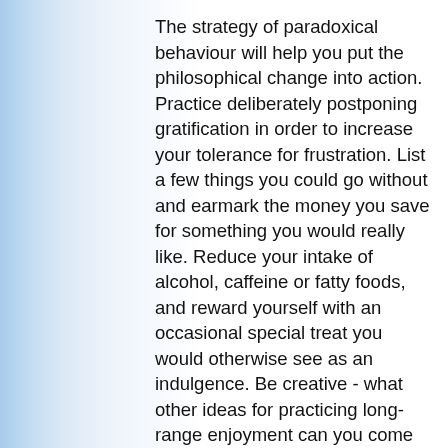The strategy of paradoxical behaviour will help you put the philosophical change into action. Practice deliberately postponing gratification in order to increase your tolerance for frustration. List a few things you could go without and earmark the money you save for something you would really like. Reduce your intake of alcohol, caffeine or fatty foods, and reward yourself with an occasional special treat you would otherwise see as an indulgence. Be creative - what other ideas for practicing long-range enjoyment can you come up with?
By now you will probably see that many of the twelve principles are interdependent. To delay gratification involves tolerating